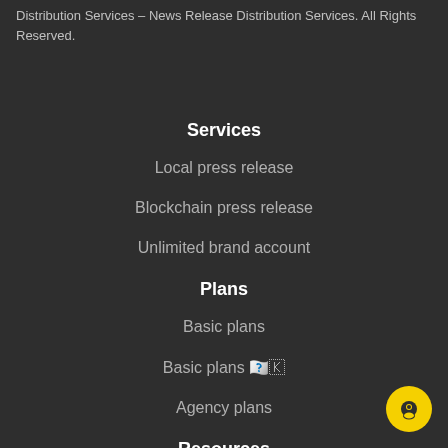Distribution Services – News Release Distribution Services. All Rights Reserved.
Services
Local press release
Blockchain press release
Unlimited brand account
Plans
Basic plans
Basic plans 한국어
Agency plans
Resources
FAQ